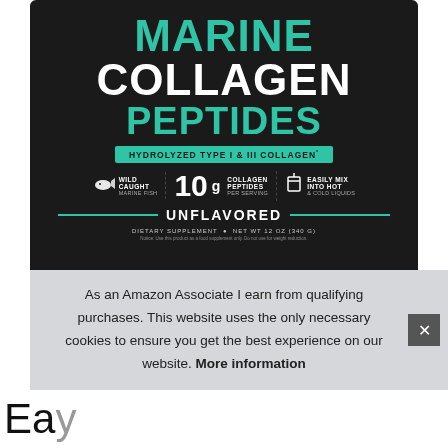[Figure (photo): Marine Collagen Peptides product jar on dark background. Label reads: MARINE COLLAGEN PEPTIDES, Hydrolyzed Type I & III Collagen, Wild Caught Marine Fish, 10g Collagen Peptides Per Serving, Easily Mix Into Hot & Cold Liquids, Unflavored, Dietary Supplement, Net Wt 12 oz (340 g)]
As an Amazon Associate I earn from qualifying purchases. This website uses the only necessary cookies to ensure you get the best experience on our website. More information
Ea...